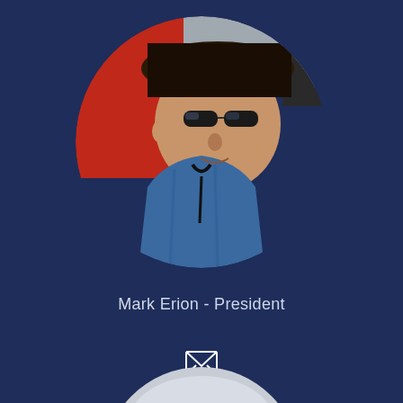[Figure (photo): Circular cropped photo of Mark Erion wearing sunglasses, a cowboy hat, and a blue shirt, standing near a red vehicle]
Mark Erion - President
[Figure (other): Email envelope icon in white]
[Figure (photo): Partial circular photo showing top of another person's head, gray/white tones, only top portion visible]